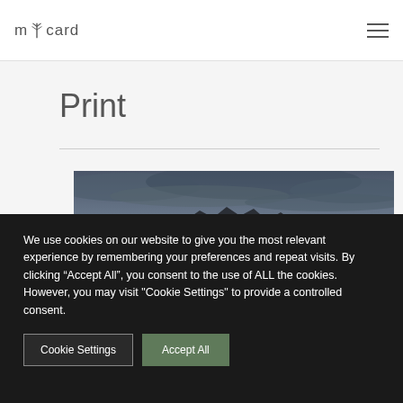mycard
Print
[Figure (photo): Panoramic landscape photo showing dark mountain silhouettes against a dramatic cloudy sky in muted blue-gray tones]
We use cookies on our website to give you the most relevant experience by remembering your preferences and repeat visits. By clicking “Accept All”, you consent to the use of ALL the cookies. However, you may visit "Cookie Settings" to provide a controlled consent.